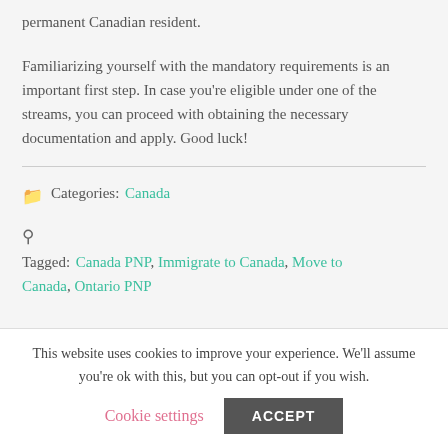permanent Canadian resident.
Familiarizing yourself with the mandatory requirements is an important first step. In case you're eligible under one of the streams, you can proceed with obtaining the necessary documentation and apply. Good luck!
Categories: Canada
Tagged: Canada PNP, Immigrate to Canada, Move to Canada, Ontario PNP
This website uses cookies to improve your experience. We'll assume you're ok with this, but you can opt-out if you wish.